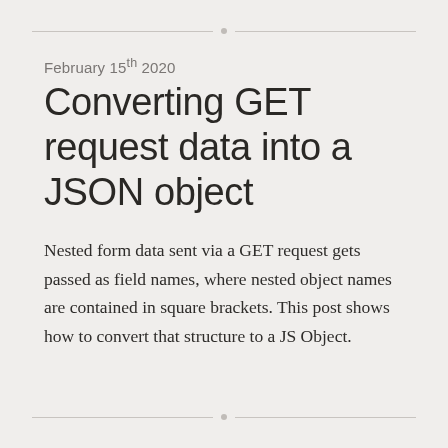February 15th 2020
Converting GET request data into a JSON object
Nested form data sent via a GET request gets passed as field names, where nested object names are contained in square brackets. This post shows how to convert that structure to a JS Object.